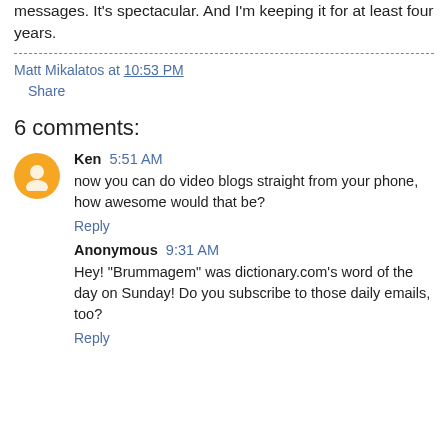messages. It's spectacular. And I'm keeping it for at least four years.
Matt Mikalatos at 10:53 PM
Share
6 comments:
Ken 5:51 AM
now you can do video blogs straight from your phone, how awesome would that be?
Reply
Anonymous 9:31 AM
Hey! "Brummagem" was dictionary.com's word of the day on Sunday! Do you subscribe to those daily emails, too?
Reply